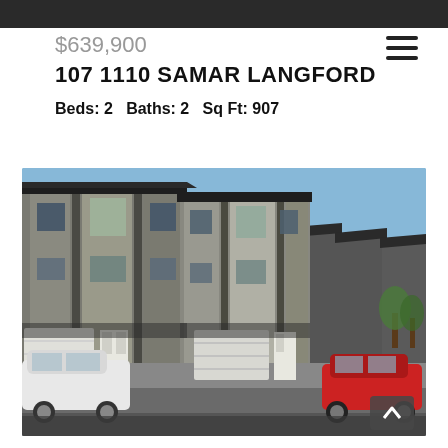[Figure (photo): Dark banner photo strip at top of page]
$639,900
107 1110 SAMAR LANGFORD
Beds: 2   Baths: 2   Sq Ft: 907
[Figure (photo): Exterior photo of modern multi-unit townhouse complex with gray and beige siding, garage doors, parked red and white cars, blue sky background]